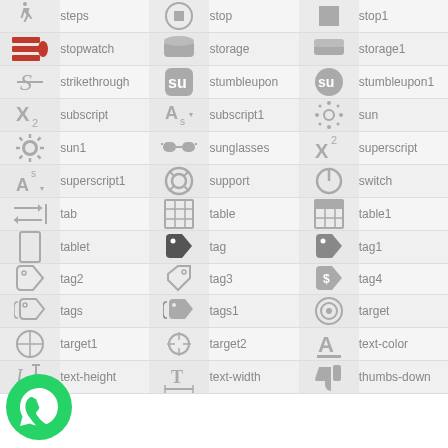| icon | name | icon | name | icon | name |
| --- | --- | --- | --- | --- | --- |
| [steps icon] | steps | [stop icon] | stop | [stop1 icon] | stop1 |
| [stopwatch icon] | stopwatch | [storage icon] | storage | [storage1 icon] | storage1 |
| [strikethrough icon] | strikethrough | [stumbleupon icon] | stumbleupon | [stumbleupon1 icon] | stumbleupon1 |
| [subscript icon] | subscript | [subscript1 icon] | subscript1 | [sun icon] | sun |
| [sun1 icon] | sun1 | [sunglasses icon] | sunglasses | [superscript icon] | superscript |
| [superscript1 icon] | superscript1 | [support icon] | support | [switch icon] | switch |
| [tab icon] | tab | [table icon] | table | [table1 icon] | table1 |
| [tablet icon] | tablet | [tag icon] | tag | [tag1 icon] | tag1 |
| [tag2 icon] | tag2 | [tag3 icon] | tag3 | [tag4 icon] | tag4 |
| [tags icon] | tags | [tags1 icon] | tags1 | [target icon] | target |
| [target1 icon] | target1 | [target2 icon] | target2 | [text-color icon] | text-color |
| [text-height icon] | text-height | [text-width icon] | text-width | [thumbs-down icon] | thumbs-down |